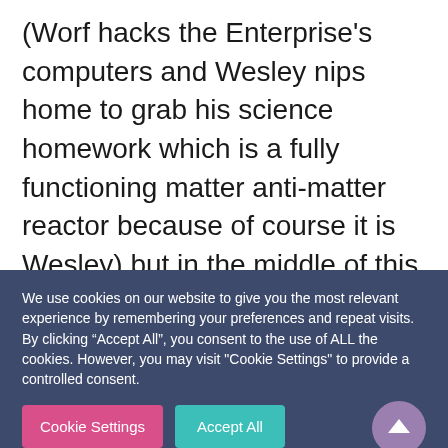(Worf hacks the Enterprise's computers and Wesley nips home to grab his science homework which is a fully functioning matter anti-matter reactor because of course it is Wesley) but in the middle of this Armin Shimerman shows up and is all “why are you fighting this Federation vessel and why are you now protecting it” and then tries to blow
We use cookies on our website to give you the most relevant experience by remembering your preferences and repeat visits. By clicking “Accept All”, you consent to the use of ALL the cookies. However, you may visit "Cookie Settings" to provide a controlled consent.